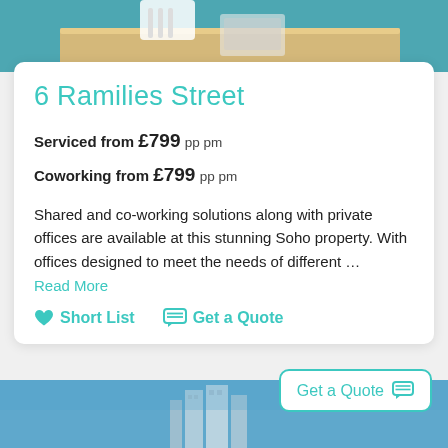[Figure (photo): Top portion of office/workspace photo showing a wooden desk and white chair against a teal background]
6 Ramilies Street
Serviced from £799 pp pm
Coworking from £799 pp pm
Shared and co-working solutions along with private offices are available at this stunning Soho property. With offices designed to meet the needs of different …
Read More
♥ Short List   💬 Get a Quote
Get a Quote 💬
[Figure (photo): Bottom portion showing a building facade against a blue sky]